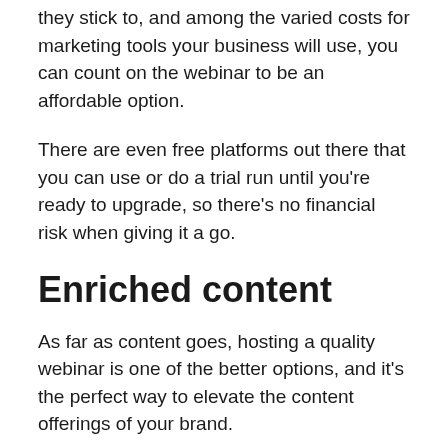they stick to, and among the varied costs for marketing tools your business will use, you can count on the webinar to be an affordable option.
There are even free platforms out there that you can use or do a trial run until you're ready to upgrade, so there's no financial risk when giving it a go.
Enriched content
As far as content goes, hosting a quality webinar is one of the better options, and it's the perfect way to elevate the content offerings of your brand.
By adding webinars to your lineup, you're